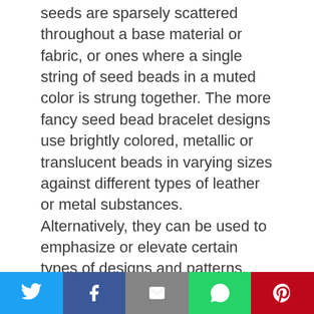seeds are sparsely scattered throughout a base material or fabric, or ones where a single string of seed beads in a muted color is strung together. The more fancy seed bead bracelet designs use brightly colored, metallic or translucent beads in varying sizes against different types of leather or metal substances. Alternatively, they can be used to emphasize or elevate certain types of designs and patterns. For instance, a design of a motif might be emphasized with the help of seed beads along (with) key points of the design or along the outline. This gives the design a very pretty, three dimensional beauty.
There are many different kinds of bracelets into which seed beads might be incorporated. The
[Figure (other): Social sharing bar with Twitter, Facebook, Email, WhatsApp, and Pinterest buttons]